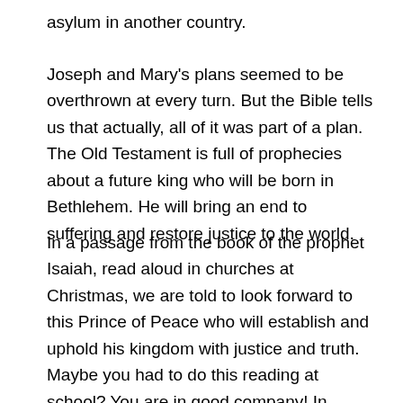asylum in another country.
Joseph and Mary's plans seemed to be overthrown at every turn. But the Bible tells us that actually, all of it was part of a plan. The Old Testament is full of prophecies about a future king who will be born in Bethlehem. He will bring an end to suffering and restore justice to the world.
In a passage from the book of the prophet Isaiah, read aloud in churches at Christmas, we are told to look forward to this Prince of Peace who will establish and uphold his kingdom with justice and truth. Maybe you had to do this reading at school? You are in good company! In Luke's gospel, we discover that Jesus read from Isaiah to the gathered synagogue members. This